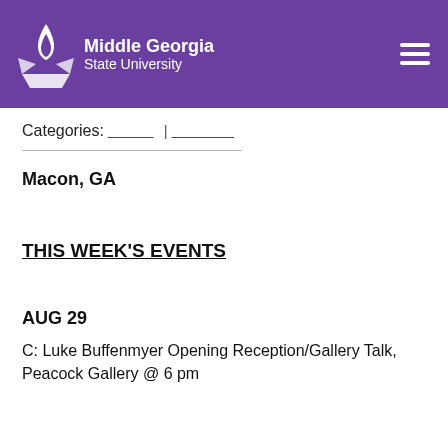[Figure (logo): Middle Georgia State University logo with flame/torch icon in white on purple background, with university name in white text, and hamburger menu icon on right]
Categories: ___________ | ________________
Macon, GA
THIS WEEK'S EVENTS
AUG 29
C: Luke Buffenmyer Opening Reception/Gallery Talk, Peacock Gallery @ 6 pm